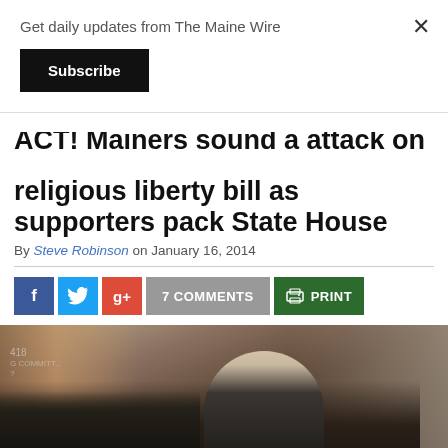Get daily updates from The Maine Wire
Subscribe
ACT! Mainers sound a attack on religious liberty bill as supporters pack State House
By Steve Robinson on January 16, 2014
7 COMMENTS
PRINT
[Figure (photo): Photo of people gathered at the State House for the religious liberty bill hearing, with a man in a suit in the foreground.]